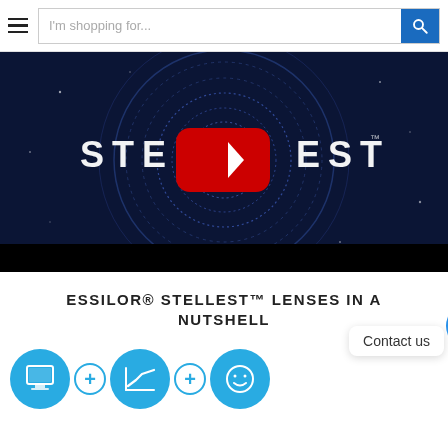I'm shopping for...
[Figure (screenshot): YouTube video thumbnail showing STELLEST branding on a dark blue circular pattern background with a YouTube play button overlay]
ESSILOR® STELLEST™ LENSES IN A NUTSHELL
Contact us
[Figure (infographic): Row of blue circular icons with plus signs between them, showing lens technology icons]